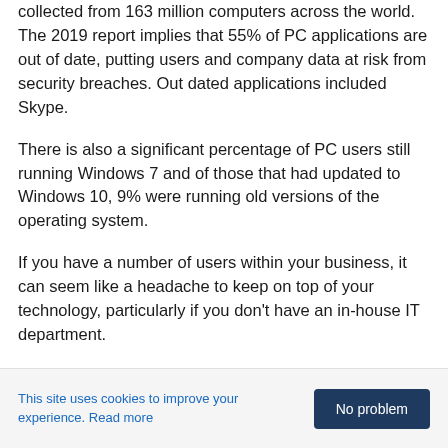collected from 163 million computers across the world. The 2019 report implies that 55% of PC applications are out of date, putting users and company data at risk from security breaches. Out dated applications included Skype.
There is also a significant percentage of PC users still running Windows 7 and of those that had updated to Windows 10, 9% were running old versions of the operating system.
If you have a number of users within your business, it can seem like a headache to keep on top of your technology, particularly if you don't have an in-house IT department.
Keeping software up to date is known as Patch Management, but where do you start?
This site uses cookies to improve your experience. Read more   No problem